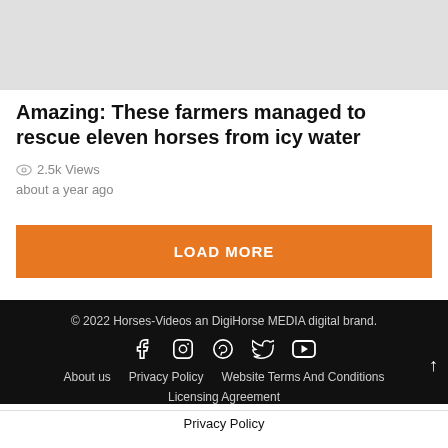[Figure (photo): Gray placeholder image at top of page]
Amazing: These farmers managed to rescue eleven horses from icy water
2.5k Views
about a year ago
LOAD MORE
© 2022 Horses-Videos an DigiHorse MEDIA digital brand.
[Social icons: Facebook, Instagram, Pinterest, Twitter, YouTube]
About us   Privacy Policy   Website Terms And Conditions   Licensing Agreement
Privacy Policy